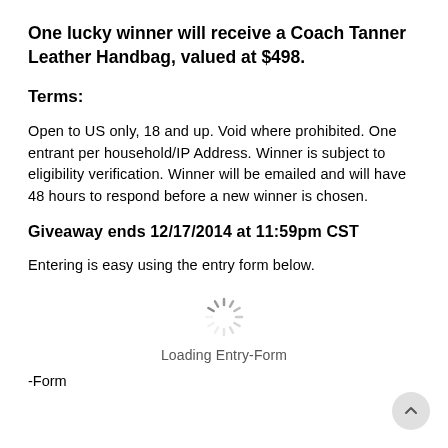One lucky winner will receive a Coach Tanner Leather Handbag, valued at $498.
Terms:
Open to US only, 18 and up. Void where prohibited. One entrant per household/IP Address. Winner is subject to eligibility verification. Winner will be emailed and will have 48 hours to respond before a new winner is chosen.
Giveaway ends 12/17/2014 at 11:59pm CST
Entering is easy using the entry form below.
[Figure (other): Loading spinner icon with text 'Loading Entry-Form']
-Form